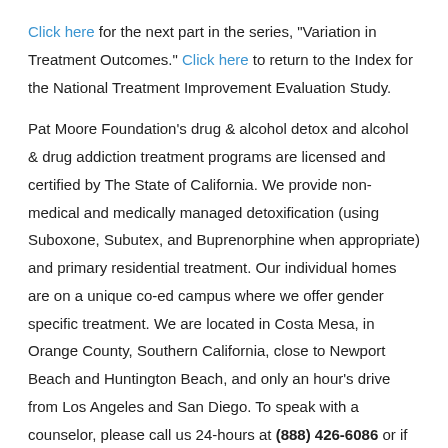Click here for the next part in the series, "Variation in Treatment Outcomes." Click here to return to the Index for the National Treatment Improvement Evaluation Study.
Pat Moore Foundation's drug & alcohol detox and alcohol & drug addiction treatment programs are licensed and certified by The State of California. We provide non-medical and medically managed detoxification (using Suboxone, Subutex, and Buprenorphine when appropriate) and primary residential treatment. Our individual homes are on a unique co-ed campus where we offer gender specific treatment. We are located in Costa Mesa, in Orange County, Southern California, close to Newport Beach and Huntington Beach, and only an hour's drive from Los Angeles and San Diego. To speak with a counselor, please call us 24-hours at (888) 426-6086 or if you'd like us to contact you, send a confidential message online by filling out our online form.
Note: All medical services are administered by medical